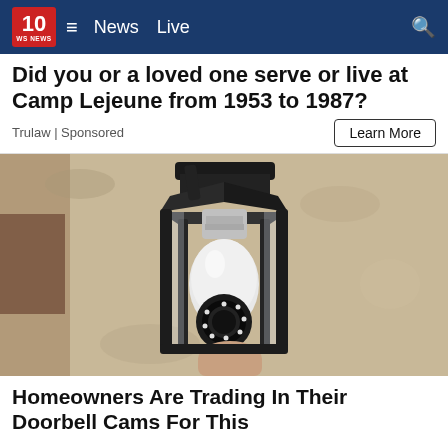10 WS News  ≡  News  Live  🔍
Did you or a loved one serve or live at Camp Lejeune from 1953 to 1987?
Trulaw | Sponsored
Learn More
[Figure (photo): A security camera shaped like a light bulb being installed into an outdoor black lantern-style wall light fixture mounted on a textured stucco wall.]
Homeowners Are Trading In Their Doorbell Cams For This